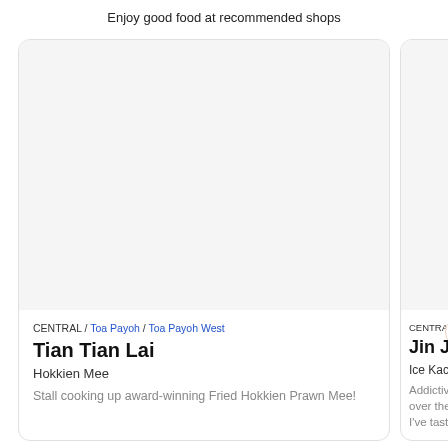Enjoy good food at recommended shops
[Figure (photo): Card with food image placeholder for Tian Tian Lai stall]
CENTRAL / Toa Payoh / Toa Payoh West
Tian Tian Lai
Hokkien Mee
Stall cooking up award-winning Fried Hokkien Prawn Mee!
[Figure (photo): Partially visible card for Jin Jin stall]
CENTRAL
Jin Jin
Ice Kacar
Addictive over the I've taste